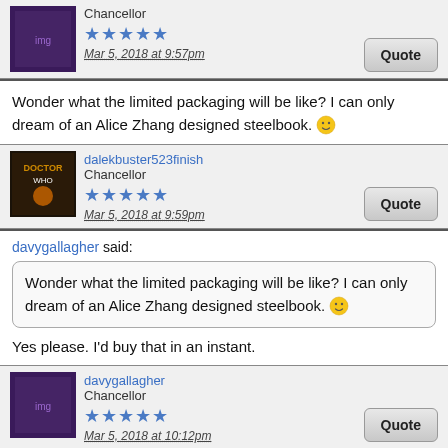Chancellor
★★★★★
Mar 5, 2018 at 9:57pm
Quote
Wonder what the limited packaging will be like? I can only dream of an Alice Zhang designed steelbook. 😊
dalekbuster523finish
Chancellor
★★★★★
Mar 5, 2018 at 9:59pm
Quote
davygallagher said:
Wonder what the limited packaging will be like? I can only dream of an Alice Zhang designed steelbook. 😊
Yes please. I'd buy that in an instant.
davygallagher
Chancellor
★★★★★
Mar 5, 2018 at 10:12pm
Quote